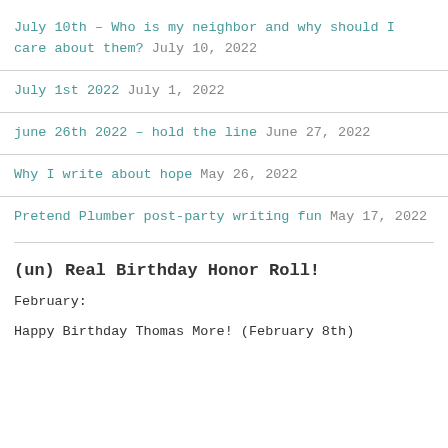July 10th – Who is my neighbor and why should I care about them? July 10, 2022
July 1st 2022 July 1, 2022
june 26th 2022 – hold the line June 27, 2022
Why I write about hope May 26, 2022
Pretend Plumber post-party writing fun May 17, 2022
(un) Real Birthday Honor Roll!
February:
Happy Birthday Thomas More! (February 8th)